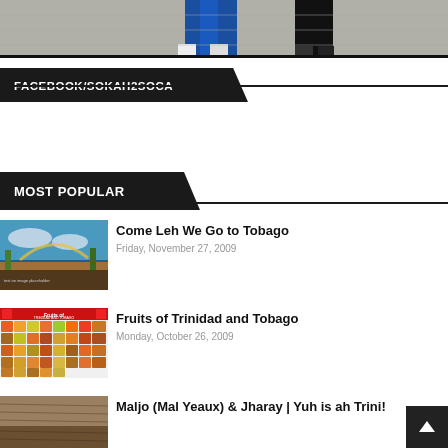[Figure (photo): Top cropped photo showing people's feet/legs on a tiled floor, one person in blue pants]
FACEBOOK/SOKAH2SOCA
MOST POPULAR
[Figure (photo): Thumbnail image for Come Leh We Go to Tobago article - colorful landscape/painting]
Come Leh We Go to Tobago
Friday, November 27, 2009
[Figure (photo): Thumbnail image for Fruits of Trinidad and Tobago - grid of fruit photos]
Fruits of Trinidad and Tobago
Monday, October 26, 2009
[Figure (photo): Thumbnail image for Maljo article - outdoor scene]
Maljo (Mal Yeaux) & Jharay | Yuh is ah Trini!